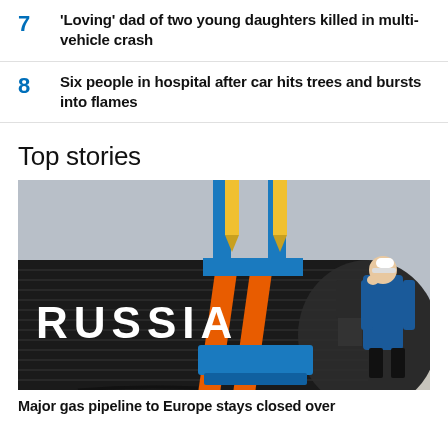7 'Loving' dad of two young daughters killed in multi-vehicle crash
8 Six people in hospital after car hits trees and bursts into flames
Top stories
[Figure (photo): Large black pipeline section with 'RUSSIA' written in white bold letters, with orange stripe markings. Yellow crane hooks and blue straps visible above. A man in blue work suit and white hard hat stands to the right.]
Major gas pipeline to Europe stays closed over